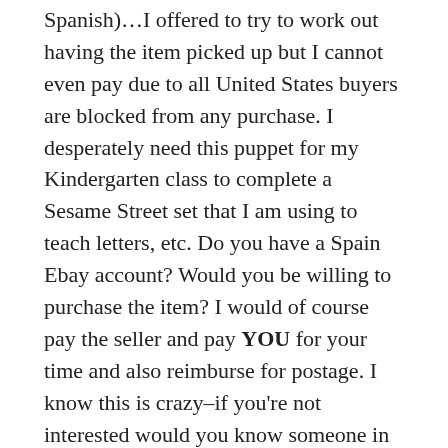Spanish)…I offered to try to work out having the item picked up but I cannot even pay due to all United States buyers are blocked from any purchase. I desperately need this puppet for my Kindergarten class to complete a Sesame Street set that I am using to teach letters, etc. Do you have a Spain Ebay account? Would you be willing to purchase the item? I would of course pay the seller and pay YOU for your time and also reimburse for postage. I know this is crazy–if you're not interested would you know someone in Spain that may be willing to help me?? I would be SO GREATLY APPRECIATIVE and so would my class!! Thanks in advance for any consideration. 🙂 Please respond as soon as possible….i'm a safe mom/teacher who just needs some good